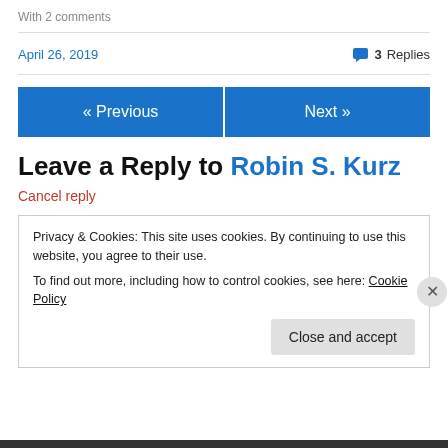With 2 comments
April 26, 2019
3 Replies
« Previous
Next »
Leave a Reply to Robin S. Kurz
Cancel reply
Privacy & Cookies: This site uses cookies. By continuing to use this website, you agree to their use.
To find out more, including how to control cookies, see here: Cookie Policy
Close and accept